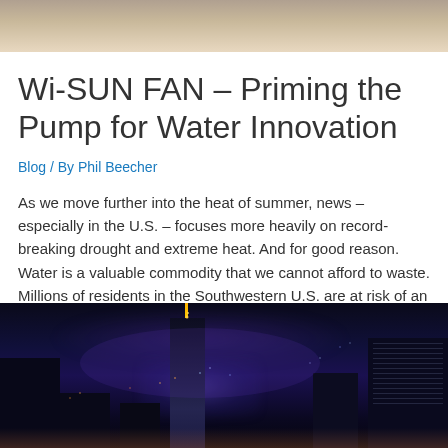[Figure (photo): Partial top portion of an outdoor/nature image cropped at the top of the page]
Wi-SUN FAN – Priming the Pump for Water Innovation
Blog / By Phil Beecher
As we move further into the heat of summer, news – especially in the U.S. – focuses more heavily on record-breaking drought and extreme heat. And for good reason. Water is a valuable commodity that we cannot afford to waste. Millions of residents in the Southwestern U.S. are at risk of an energy crisis as …
Read More »
[Figure (photo): Night city skyline photograph showing illuminated skyscrapers against a dark purple-blue night sky]